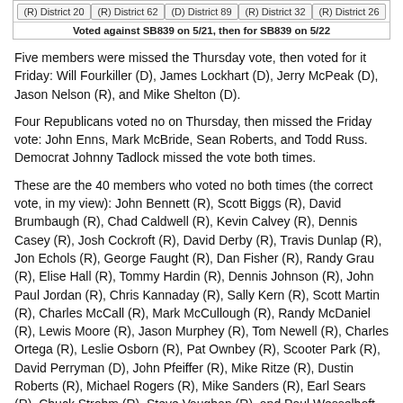| (R) District 20 | (R) District 62 | (D) District 89 | (R) District 32 | (R) District 26 |
| --- | --- | --- | --- | --- |
Voted against SB839 on 5/21, then for SB839 on 5/22
Five members were missed the Thursday vote, then voted for it Friday: Will Fourkiller (D), James Lockhart (D), Jerry McPeak (D), Jason Nelson (R), and Mike Shelton (D).
Four Republicans voted no on Thursday, then missed the Friday vote: John Enns, Mark McBride, Sean Roberts, and Todd Russ. Democrat Johnny Tadlock missed the vote both times.
These are the 40 members who voted no both times (the correct vote, in my view): John Bennett (R), Scott Biggs (R), David Brumbaugh (R), Chad Caldwell (R), Kevin Calvey (R), Dennis Casey (R), Josh Cockroft (R), David Derby (R), Travis Dunlap (R), Jon Echols (R), George Faught (R), Dan Fisher (R), Randy Grau (R), Elise Hall (R), Tommy Hardin (R), Dennis Johnson (R), John Paul Jordan (R), Chris Kannaday (R), Sally Kern (R), Scott Martin (R), Charles McCall (R), Mark McCullough (R), Randy McDaniel (R), Lewis Moore (R), Jason Murphey (R), Tom Newell (R), Charles Ortega (R), Leslie Osborn (R), Pat Ownbey (R), Scooter Park (R), David Perryman (D), John Pfeiffer (R), Mike Ritze (R), Dustin Roberts (R), Michael Rogers (R), Mike Sanders (R), Earl Sears (R), Chuck Strohm (R), Steve Vaughan (R), and Paul Wesselhoft